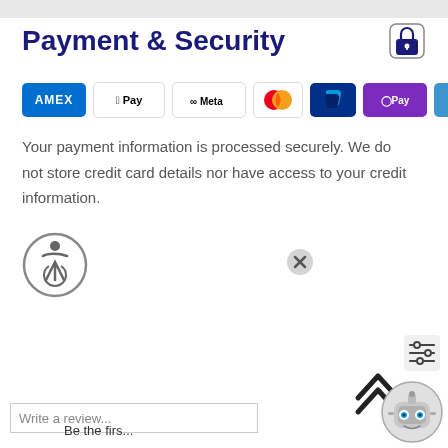Payment & Security
[Figure (logo): Payment method logos: AMEX, Apple Pay, Meta Pay, Mastercard, PayPal, OPay, Venmo, VISA]
Your payment information is processed securely. We do not store credit card details nor have access to your credit information.
[Figure (screenshot): Chat widget overlay with bot message 'Hi, There! How can I assist you today?' and user reply options: 'I need service price', 'I want to place an order', 'I need shipping address'. Also shows accessibility icon, star rating, write-a-review input, up-arrow chevron, filter icon, and robot avatar.]